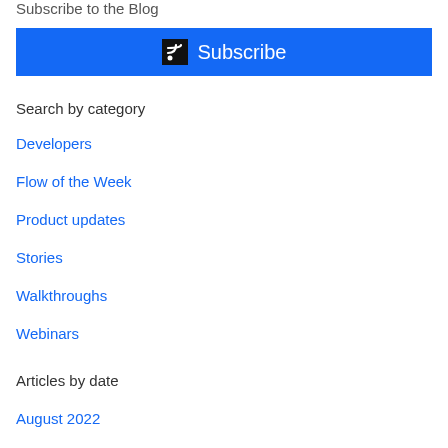Subscribe to the Blog
[Figure (other): Blue subscribe button with RSS icon and text 'Subscribe']
Search by category
Developers
Flow of the Week
Product updates
Stories
Walkthroughs
Webinars
Articles by date
August 2022